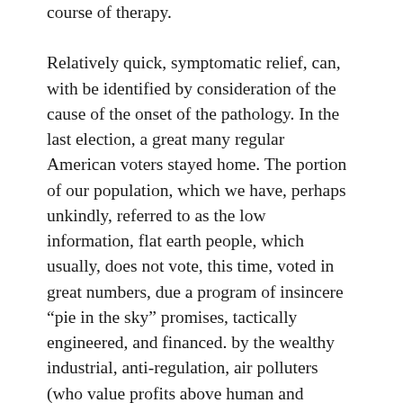course of therapy.
Relatively quick, symptomatic relief, can, with be identified by consideration of the cause of the onset of the pathology. In the last election, a great many regular American voters stayed home. The portion of our population, which we have, perhaps unkindly, referred to as the low information, flat earth people, which usually, does not vote, this time, voted in great numbers, due a program of insincere “pie in the sky” promises, tactically engineered, and financed. by the wealthy industrial, anti-regulation, air polluters (who value profits above human and planetary health).
Symptomatic relief, as well as complete restoration of the nation to its former condition of good health, can be achieved by the excision of the harmful pathogen from the body politic, by a large